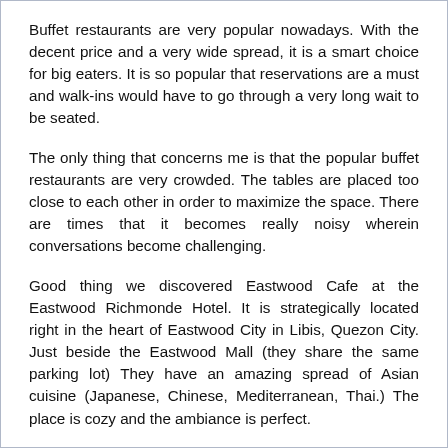Buffet restaurants are very popular nowadays. With the decent price and a very wide spread, it is a smart choice for big eaters. It is so popular that reservations are a must and walk-ins would have to go through a very long wait to be seated.
The only thing that concerns me is that the popular buffet restaurants are very crowded. The tables are placed too close to each other in order to maximize the space. There are times that it becomes really noisy wherein conversations become challenging.
Good thing we discovered Eastwood Cafe at the Eastwood Richmonde Hotel. It is strategically located right in the heart of Eastwood City in Libis, Quezon City. Just beside the Eastwood Mall (they share the same parking lot) They have an amazing spread of Asian cuisine (Japanese, Chinese, Mediterranean, Thai.) The place is cozy and the ambiance is perfect.
Let me share some of the dishes we had.